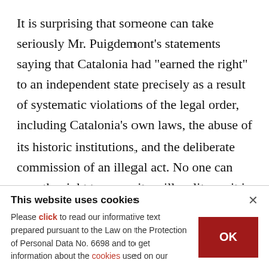It is surprising that someone can take seriously Mr. Puigdemont's statements saying that Catalonia had "earned the right" to an independent state precisely as a result of systematic violations of the legal order, including Catalonia's own laws, the abuse of its historic institutions, and the deliberate commission of an illegal act. No one can earn the right to commit an illegality, as it is not earned, but it is committed, and in doing so you incur in the corresponding responsibilities (in this case very
This website uses cookies
Please click to read our informative text prepared pursuant to the Law on the Protection of Personal Data No. 6698 and to get information about the cookies used on our